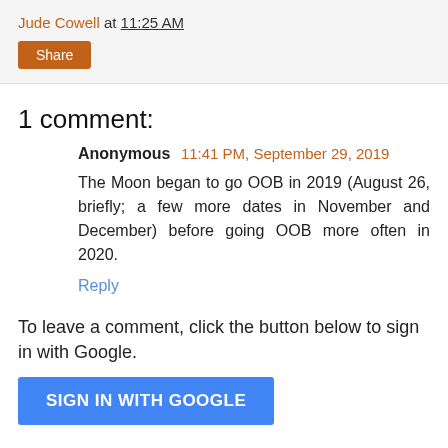Jude Cowell at 11:25 AM
Share
1 comment:
Anonymous 11:41 PM, September 29, 2019
The Moon began to go OOB in 2019 (August 26, briefly; a few more dates in November and December) before going OOB more often in 2020.
Reply
To leave a comment, click the button below to sign in with Google.
SIGN IN WITH GOOGLE
Be courteous -- No ads -- including for astrological, Tarot, or psychic readings and